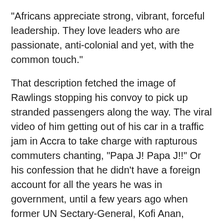“Africans appreciate strong, vibrant, forceful leadership. They love leaders who are passionate, anti-colonial and yet, with the common touch.”
That description fetched the image of Rawlings stopping his convoy to pick up stranded passengers along the way. The viral video of him getting out of his car in a traffic jam in Accra to take charge with rapturous commuters chanting, "Papa J! Papa J!!" Or his confession that he didn’t have a foreign account for all the years he was in government, until a few years ago when former UN Sectary-General, Kofi Anan, asked him to open one.
Jega admitted that even though Rawlings’ first coming was “one of the most traumatic on the continent”, his subsequent record as a two-term civilian leader made up for his earlier flaws. “He is, in a fundamental way, the father of modern Ghana,” he said.
Perhaps it was that redeeming act that Nigerians really admired about Rawlings: his courage, his patriotism, his